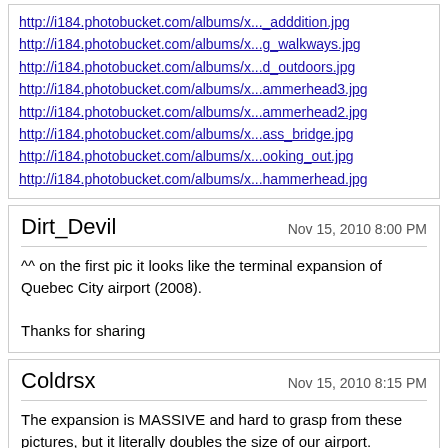http://i184.photobucket.com/albums/x..._adddition.jpg
http://i184.photobucket.com/albums/x...g_walkways.jpg
http://i184.photobucket.com/albums/x...d_outdoors.jpg
http://i184.photobucket.com/albums/x...ammerhead3.jpg
http://i184.photobucket.com/albums/x...ammerhead2.jpg
http://i184.photobucket.com/albums/x...ass_bridge.jpg
http://i184.photobucket.com/albums/x...ooking_out.jpg
http://i184.photobucket.com/albums/x...hammerhead.jpg
Dirt_Devil
Nov 15, 2010 8:00 PM
^^ on the first pic it looks like the terminal expansion of Quebec City airport (2008).

Thanks for sharing
Coldrsx
Nov 15, 2010 8:15 PM
The expansion is MASSIVE and hard to grasp from these pictures, but it literally doubles the size of our airport.
gilpel
Nov 16, 2010 7:47 PM
YQB (Quebec City master plan